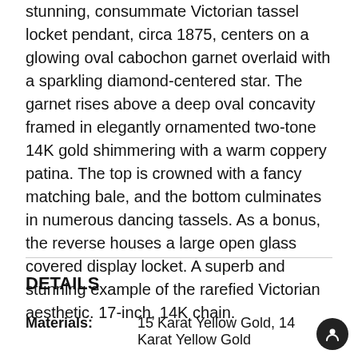stunning, consummate Victorian tassel locket pendant, circa 1875, centers on a glowing oval cabochon garnet overlaid with a sparkling diamond-centered star. The garnet rises above a deep oval concavity framed in elegantly ornamented two-tone 14K gold shimmering with a warm coppery patina. The top is crowned with a fancy matching bale, and the bottom culminates in numerous dancing tassels. As a bonus, the reverse houses a large open glass covered display locket. A superb and stunning example of the rarefied Victorian aesthetic. 17-inch, 14K chain.
DETAILS
|  |  |
| --- | --- |
| Materials: | 15 Karat Yellow Gold, 14 Karat Yellow Gold |